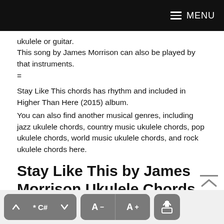MENU
ukulele or guitar.
This song by James Morrison can also be played by that instruments.
=
Stay Like This chords has rhythm and included in Higher Than Here (2015) album.
You can also find another musical genres, including jazz ukulele chords, country music ukulele chords, pop ukulele chords, world music ukulele chords, and rock ukulele chords here.
Stay Like This by James Morrison Ukulele Chords